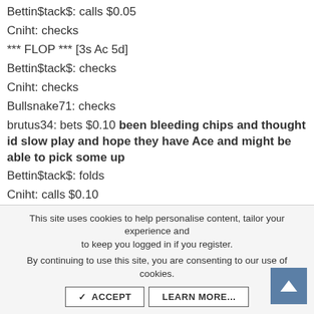Bettin$tack$: calls $0.05
Cniht: checks
*** FLOP *** [3s Ac 5d]
Bettin$tack$: checks
Cniht: checks
Bullsnake71: checks
brutus34: bets $0.10 been bleeding chips and thought id slow play and hope they have Ace and might be able to pick some up
Bettin$tack$: folds
Cniht: calls $0.10
Bullsnake71: folds
*** TURN *** [3s Ac 5d] [4c]
Cniht: checks
brutus34: bets $0.30
Cniht: raises $0.30 to $0.60hmmmm already hit straight or
This site uses cookies to help personalise content, tailor your experience and to keep you logged in if you register. By continuing to use this site, you are consenting to our use of cookies.